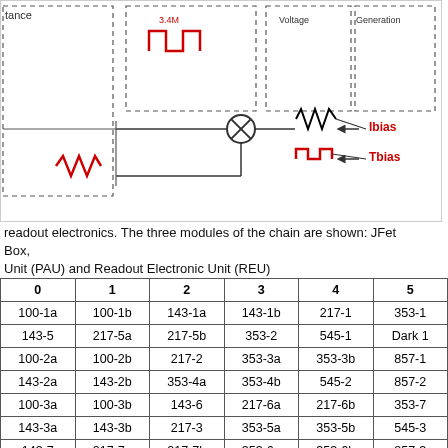[Figure (schematic): Circuit schematic of readout electronics showing three modules: JFet Box, Pre-Amplifier Unit (PAU) and Readout Electronic Unit (REU). Shows signal chain with components including resistors, a crossed circle (multiplier/mixer), pulse waveforms, zigzag resistors, Ibias and Tbias inputs.]
readout electronics. The three modules of the chain are shown: JFet Box, Unit (PAU) and Readout Electronic Unit (REU)
| 0 | 1 | 2 | 3 | 4 | 5 |
| --- | --- | --- | --- | --- | --- |
| 100-1a | 100-1b | 143-1a | 143-1b | 217-1 | 353-1 |
| 143-5 | 217-5a | 217-5b | 353-2 | 545-1 | Dark 1 |
| 100-2a | 100-2b | 217-2 | 353-3a | 353-3b | 857-1 |
| 143-2a | 143-2b | 353-4a | 353-4b | 545-2 | 857-2 |
| 100-3a | 100-3b | 143-6 | 217-6a | 217-6b | 353-7 |
| 143-3a | 143-3b | 217-3 | 353-5a | 353-5b | 545-3 |
| 143-7 | 217-7a | 217-7b | 353-6a | 353-6b | 857-3 |
| 143-8 | 217-8a | 217-8b | 545-4 | 857-4 | Dark 2 |